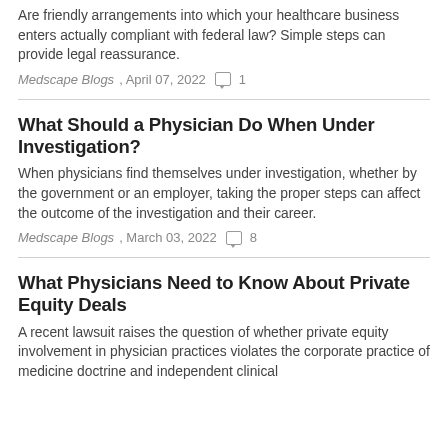Are friendly arrangements into which your healthcare business enters actually compliant with federal law? Simple steps can provide legal reassurance.
Medscape Blogs, April 07, 2022  1
What Should a Physician Do When Under Investigation?
When physicians find themselves under investigation, whether by the government or an employer, taking the proper steps can affect the outcome of the investigation and their career.
Medscape Blogs, March 03, 2022  8
What Physicians Need to Know About Private Equity Deals
A recent lawsuit raises the question of whether private equity involvement in physician practices violates the corporate practice of medicine doctrine and independent clinical